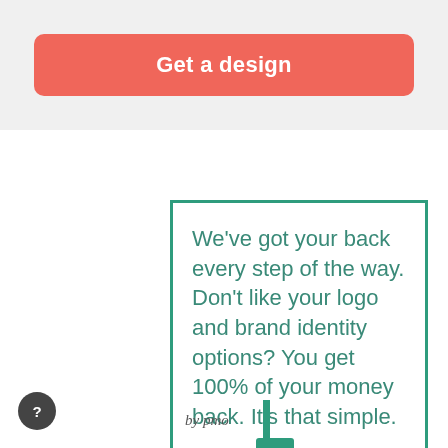Get a design
We've got your back every step of the way. Don't like your logo and brand identity options? You get 100% of your money back. It's that simple.
[Figure (illustration): A dapper bird (cardinal or jay) wearing a top hat and bow tie, holding a cane, standing upright in teal/green illustration style, holding up a billboard sign]
by pmo